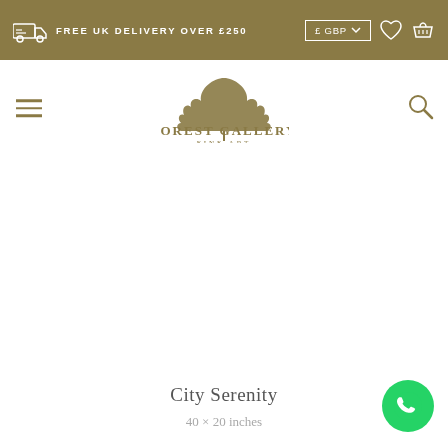FREE UK DELIVERY OVER £250
[Figure (logo): Forest Gallery Fine Art logo with tree/leaf motif and text FOREST GALLERY FINE ART]
City Serenity
40 × 20 inches